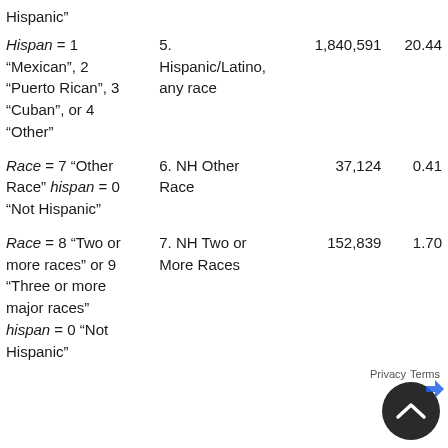| Source Variable | Race/Ethnicity Category | Count | Percent |
| --- | --- | --- | --- |
| Hispanic” |  |  |  |
| Hispan = 1 “Mexican”, 2 “Puerto Rican”, 3 “Cuban”, or 4 “Other” | 5. Hispanic/Latino, any race | 1,840,591 | 20.44 |
| Race = 7 “Other Race” hispan = 0 “Not Hispanic” | 6. NH Other Race | 37,124 | 0.41 |
| Race = 8 “Two or more races” or 9 “Three or more major races” hispan = 0 “Not Hispanic” | 7. NH Two or More Races | 152,839 | 1.70 |